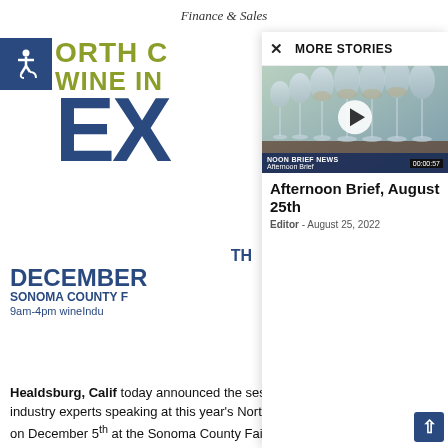Finance & Sales
[Figure (logo): North Coast Wine Industry Expo advertisement with accessibility icon, olive/navy text showing NORTH COAST WINE INDUSTRY EXPO, THE DECEMBER, SONOMA COUNTY FAIRGROUNDS, 9am-4pm wineindustryexpo.com]
MORE STORIES
[Figure (screenshot): Video thumbnail showing multiple wine glasses in rows, with play button overlay, labeled NOON BRIEF NEWS / Afternoon Brief, duration 00:00:57]
Afternoon Brief, August 25th
Editor - August 25, 2022
Healdsburg, Calif today announced the session topics and line-up of industry experts speaking at this year's North Coast Wine Industry Expo on December 5th at the Sonoma County Fairgrounds in Santa Rosa